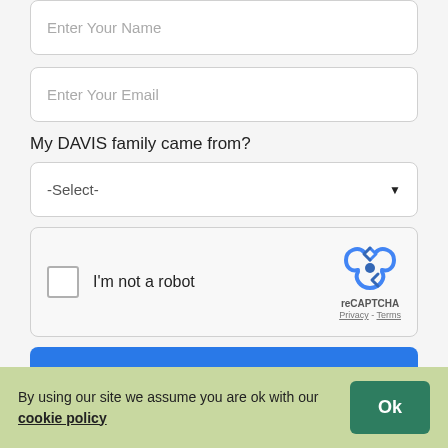Enter Your Name
Enter Your Email
My DAVIS family came from?
-Select-
[Figure (other): reCAPTCHA widget with checkbox labeled I'm not a robot and reCAPTCHA Privacy - Terms logo]
Post
Email m...
By using our site we assume you are ok with our cookie policy
Ok